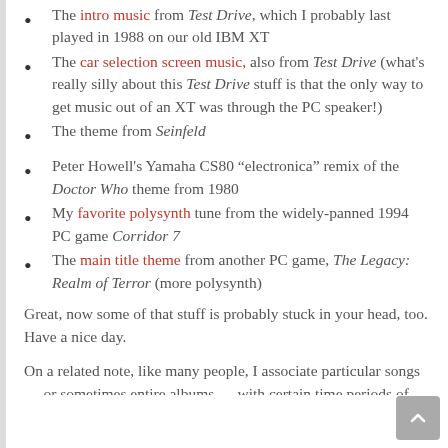The intro music from Test Drive, which I probably last played in 1988 on our old IBM XT
The car selection screen music, also from Test Drive (what's really silly about this Test Drive stuff is that the only way to get music out of an XT was through the PC speaker!)
The theme from Seinfeld
Peter Howell's Yamaha CS80 “electronica” remix of the Doctor Who theme from 1980
My favorite polysynth tune from the widely-panned 1994 PC game Corridor 7
The main title theme from another PC game, The Legacy: Realm of Terror (more polysynth)
Great, now some of that stuff is probably stuck in your head, too. Have a nice day.
On a related note, like many people, I associate particular songs — or sometimes entire albums — with certain time periods of my life. But I also associate